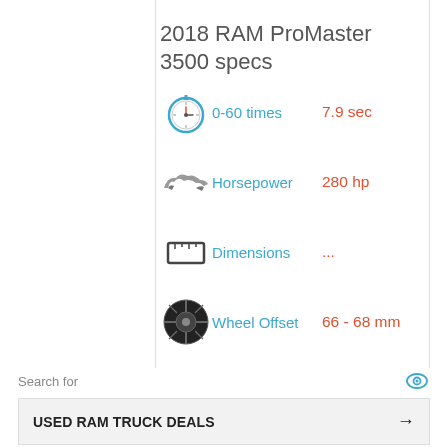2018 RAM ProMaster 3500 specs
0-60 times   7.9 sec
Horsepower   280 hp
Dimensions   ...
Wheel Offset   66 - 68 mm
Lug Pattern   PCD 5x130
Tire size   225/75 R16
Search for
USED RAM TRUCK DEALS →
RAM 1500 FOR SALE IN YOUR AREA →